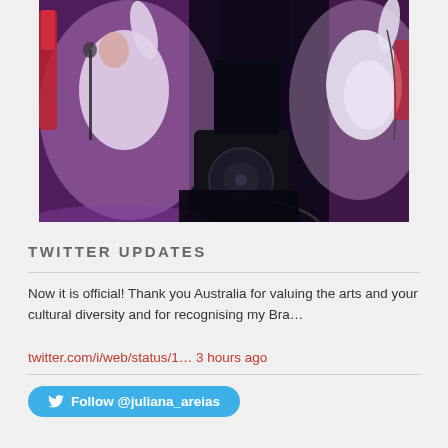[Figure (photo): Concert or performance photo showing two performers in white clothing on a stage with purple/pink lighting, a red electric guitar visible on the left, and a large black speaker/monitor on stage floor in the center.]
TWITTER UPDATES
Now it is official! Thank you Australia for valuing the arts and your cultural diversity and for recognising my Bra…
twitter.com/i/web/status/1… 3 hours ago
Follow @juliana_areias